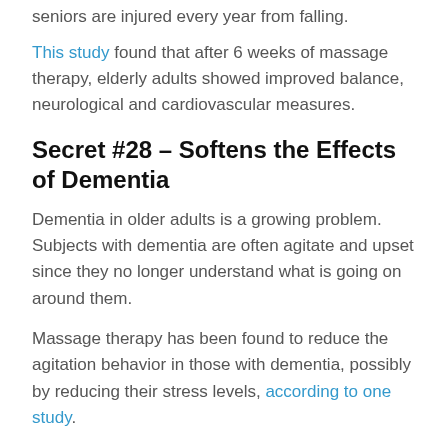seniors are injured every year from falling.
This study found that after 6 weeks of massage therapy, elderly adults showed improved balance, neurological and cardiovascular measures.
Secret #28 – Softens the Effects of Dementia
Dementia in older adults is a growing problem. Subjects with dementia are often agitate and upset since they no longer understand what is going on around them.
Massage therapy has been found to reduce the agitation behavior in those with dementia, possibly by reducing their stress levels, according to one study.
Secret #29 – Reduces...